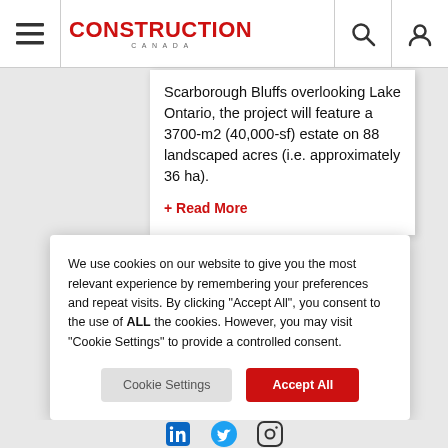Construction Canada
Scarborough Bluffs overlooking Lake Ontario, the project will feature a 3700-m2 (40,000-sf) estate on 88 landscaped acres (i.e. approximately 36 ha).
+ Read More
We use cookies on our website to give you the most relevant experience by remembering your preferences and repeat visits. By clicking “Accept All”, you consent to the use of ALL the cookies. However, you may visit “Cookie Settings” to provide a controlled consent.